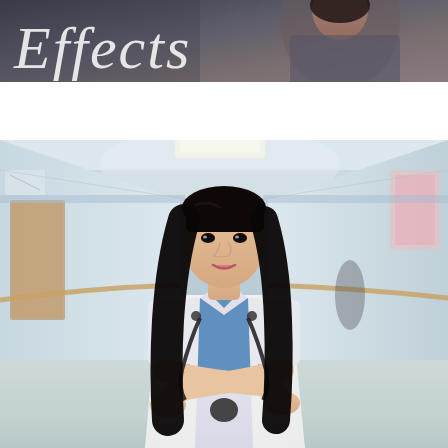[Figure (photo): Top strip photo of a person (partially visible, dark/blurred background) with the italic white text 'Effects' overlaid in the upper left corner]
[Figure (photo): Full-width photo of a young female Asian nurse/doctor in a white coat with blue scrubs and a stethoscope around her neck, arms crossed, standing in a hospital corridor with light blue walls, wooden handrails, and ceiling lights]